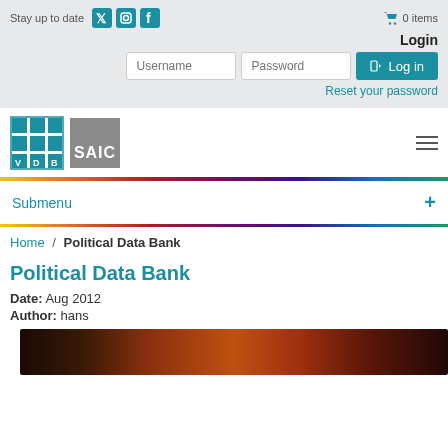Stay up to date  [social icons]   0 items
Login
Username  Password  Log in
Reset your password
[Figure (logo): VDB grid logo and SAIC square logo with hamburger menu icon]
Submenu +
Home / Political Data Bank
Political Data Bank
Date: Aug 2012
Author: hans
[Figure (photo): Dark photograph, appears to show blurred colorful lights or fabric in background]